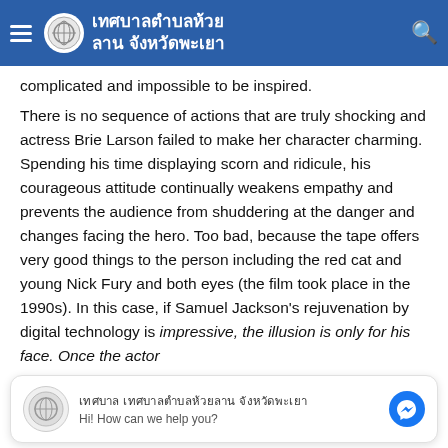เทศบาลตำบลห้วยลาน จังหวัดพะเยา
complicated and impossible to be inspired.
There is no sequence of actions that are truly shocking and actress Brie Larson failed to make her character charming. Spending his time displaying scorn and ridicule, his courageous attitude continually weakens empathy and prevents the audience from shuddering at the danger and changes facing the hero. Too bad, because the tape offers very good things to the person including the red cat and young Nick Fury and both eyes (the film took place in the 1990s). In this case, if Samuel Jackson's rejuvenation by digital technology is impressive, the illusion is only for his face. Once the actor
เทศบาล เทศบาลตำบลห้วยลาน จังหวัดพะเยา
Hi! How can we help you?
Details but it shows that digital is fortunately still at a